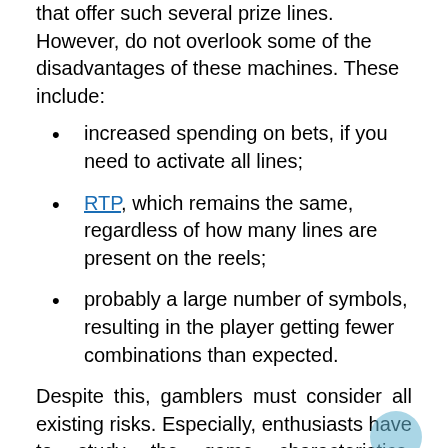that offer such several prize lines. However, do not overlook some of the disadvantages of these machines. These include:
increased spending on bets, if you need to activate all lines;
RTP, which remains the same, regardless of how many lines are present on the reels;
probably a large number of symbols, resulting in the player getting fewer combinations than expected.
Despite this, gamblers must consider all existing risks. Especially, enthusiasts have to study the game characteristics, volatility, and percentage of return, which is a determining factor of the prize fund.
How to Play 243 Ways Online Slots
Some players, especially new visitors to online casinos,